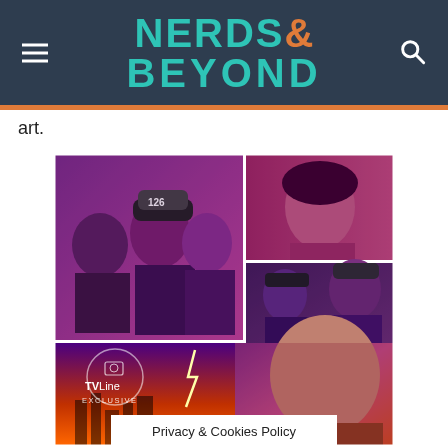NERDS& BEYOND
art.
[Figure (photo): TV show cast promotional art collage with firefighters/first responders against pink/purple and orange backgrounds, with TVLine Exclusive watermark in the lower left section]
Privacy & Cookies Policy